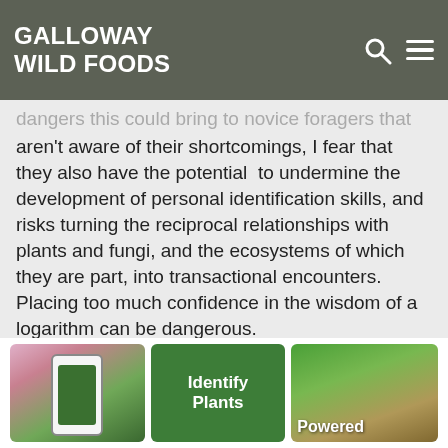GALLOWAY WILD FOODS
dangers this could bring to novice foragers that aren't aware of their shortcomings, I fear that they also have the potential to undermine the development of personal identification skills, and risks turning the reciprocal relationships with plants and fungi, and the ecosystems of which they are part, into transactional encounters. Placing too much confidence in the wisdom of a logarithm can be dangerous.
Would you prefer to learn from a human..? Check out my online 1-to-1 mentoring.
[Figure (screenshot): Mobile app screenshot showing a phone with green app screen]
[Figure (illustration): Green card with text 'Identify Plants']
[Figure (photo): Green leaf close-up with text 'Powered']